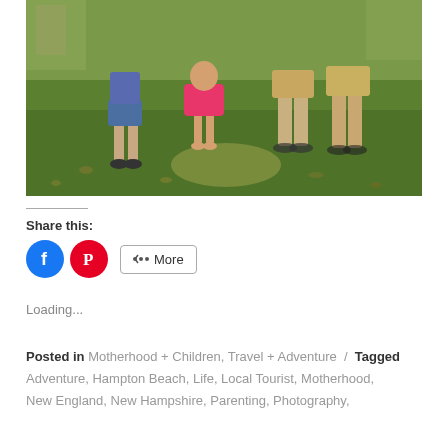[Figure (photo): Outdoor photo of children and adults standing on grass, holding hands. A child in a pink dress is in the center, a boy in blue shorts on the left, and two adults partially visible on the right. Leafy trees and buildings visible in background.]
Share this:
[Figure (infographic): Social sharing buttons: Facebook (blue circle), Pinterest (red circle), and a More button with share icon]
Loading...
Posted in Motherhood + Children, Travel + Adventure / Tagged Adventure, Hampton Beach, Life, Local Tourist, Motherhood, New England, New Hampshire, Parenting, Photography,